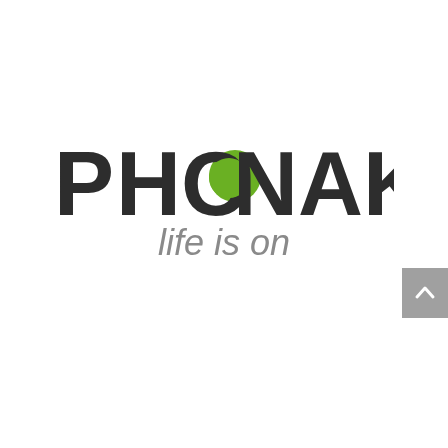[Figure (logo): Phonak logo with green dot replacing the letter O, and tagline 'life is on' below in gray italic text]
[Figure (other): Gray scroll-to-top button with upward chevron arrow, positioned at bottom right corner]